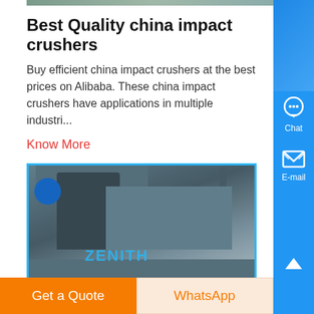[Figure (photo): Partial image strip at top of page showing industrial/crusher machinery]
Best Quality china impact crushers
Buy efficient china impact crushers at the best prices on Alibaba. These china impact crushers have applications in multiple industri...
Know More
[Figure (photo): Industrial crusher machine with blue watermark text 'ZENITH', mounted on a concrete platform, blue border]
impact crushers suppliers from china
Impact Crusher, China Impact Crusher, Impact Crusher . We
Get a Quote
WhatsApp